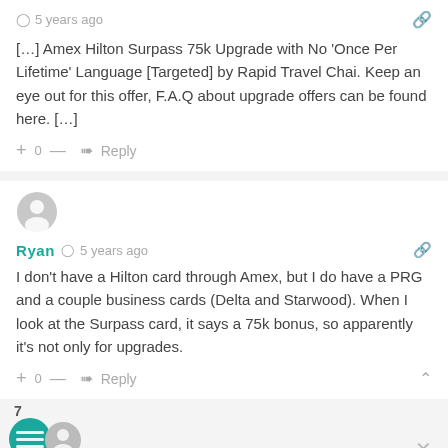5 years ago
[…] Amex Hilton Surpass 75k Upgrade with No 'Once Per Lifetime' Language [Targeted] by Rapid Travel Chai. Keep an eye out for this offer, F.A.Q about upgrade offers can be found here. […]
+ 0 — ➜ Reply
[Figure (illustration): User avatar circle with person silhouette icon]
Ryan  5 years ago
I don't have a Hilton card through Amex, but I do have a PRG and a couple business cards (Delta and Starwood). When I look at the Surpass card, it says a 75k bonus, so apparently it's not only for upgrades.
+ 0 — ➜ Reply
7
Stefan @ Rapid Travel Chai